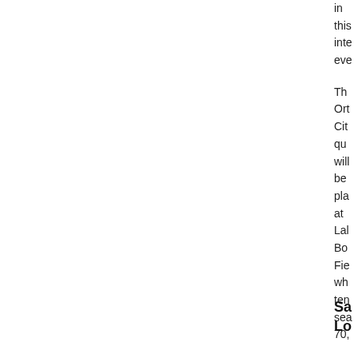in this inte eve
Th Ort Cit qu will be pla at Lal Bo Fie wh ten sea 70,
Sa Lo